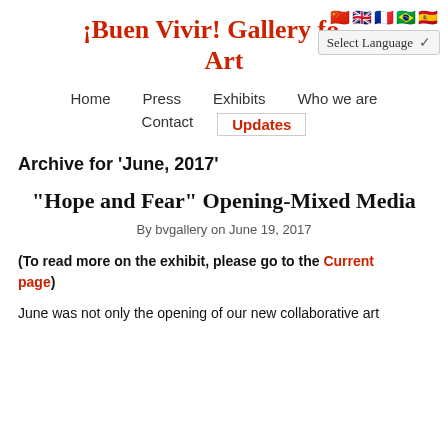¡Buen Vivir! Gallery fo... Art
[Figure (other): Language selector bar with flag icons (Chinese, English, French, Brazilian, Spanish) and a 'Select Language' dropdown]
Home | Press | Exhibits | Who we are | Contact | Updates
Archive for 'June, 2017'
“Hope and Fear” Opening-Mixed Media
By bvgallery on June 19, 2017
(To read more on the exhibit, please go to the Current page)
June was not only the opening of our new collaborative art...